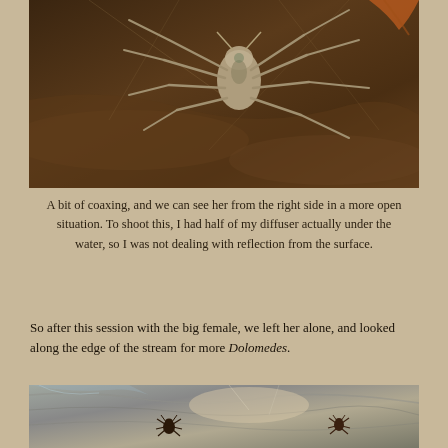[Figure (photo): Close-up macro photograph of a large female Dolomedes fishing spider viewed from the right side on a wet rock surface near water, showing detailed leg structure and body markings against a dark brown background.]
A bit of coaxing, and we can see her from the right side in a more open situation. To shoot this, I had half of my diffuser actually under the water, so I was not dealing with reflection from the surface.
So after this session with the big female, we left her alone, and looked along the edge of the stream for more Dolomedes.
[Figure (photo): Photograph of wet rock surface at stream edge showing two small Dolomedes spiders resting on grey stone with water and silk visible.]